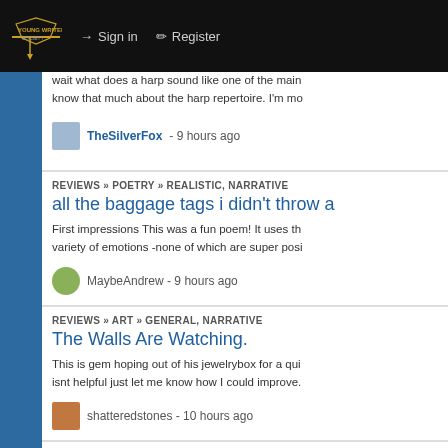Sign in | Register
wait what does a harp sound like one of the main... know that much about the harp repertoire. I'm mo...
TheSilverFox - 9 hours ago
REVIEWS » POETRY » REALISTIC, NARRATIVE
all the baggage tags i didn't throw a
First impressions This was a fun poem! It uses th... variety of emotions -none of which are super posi...
MaybeAndrew - 9 hours ago
REVIEWS » ART » GENERAL, NARRATIVE
The Walls Are Watching.
This is gem hoping out of his jewelrybox for a qui... isnt helpful just let me know how I could improve.
shatteredstones - 10 hours ago
REVIEWS » NOVEL / CHAPTER » ACTION / ADVENTURE, FA